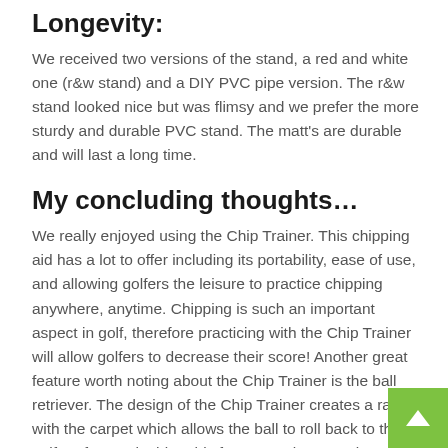Longevity:
We received two versions of the stand, a red and white one (r&w stand) and a DIY PVC pipe version. The r&w stand looked nice but was flimsy and we prefer the more sturdy and durable PVC stand. The matt's are durable and will last a long time.
My concluding thoughts…
We really enjoyed using the Chip Trainer. This chipping aid has a lot to offer including its portability, ease of use, and allowing golfers the leisure to practice chipping anywhere, anytime. Chipping is such an important aspect in golf, therefore practicing with the Chip Trainer will allow golfers to decrease their score! Another great feature worth noting about the Chip Trainer is the ball retriever. The design of the Chip Trainer creates a ramp with the carpet which allows the ball to roll back to the golfer after each chip. This feature makes practice easy and much more enjoyable, especially for golfers that suffer from back pain. As far as improvements that can be made with this golf aid, we feel the stand (r&w stand) needs to be more durable, and the price of this